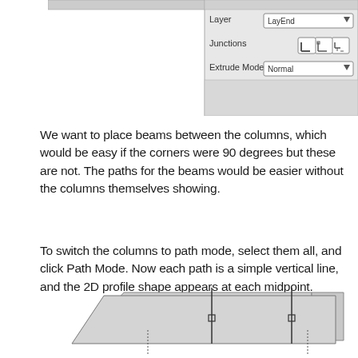[Figure (screenshot): Software UI panel showing Layer field set to 'LayEnd', Junctions icons (three corner style buttons), and Extrude Mode dropdown set to 'Normal']
We want to place beams between the columns, which would be easy if the corners were 90 degrees but these are not. The paths for the beams would be easier without the columns themselves showing.
To switch the columns to path mode, select them all, and click Path Mode. Now each path is a simple vertical line, and the 2D profile shape appears at each midpoint.
[Figure (screenshot): 3D perspective view of a flat platform/slab with vertical line paths (columns in path mode) visible at midpoints, showing simple vertical lines with small square markers]